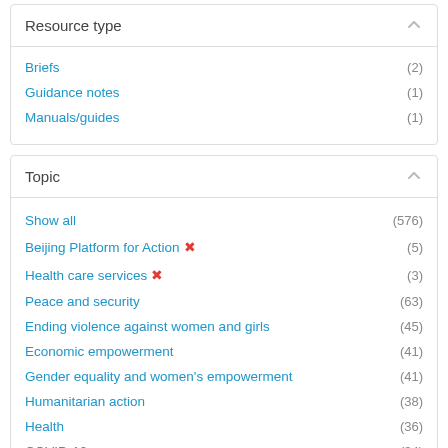Resource type
Briefs (2)
Guidance notes (1)
Manuals/guides (1)
Topic
Show all (576)
Beijing Platform for Action ✗ (5)
Health care services ✗ (3)
Peace and security (63)
Ending violence against women and girls (45)
Economic empowerment (41)
Gender equality and women's empowerment (41)
Humanitarian action (38)
Health (36)
COVID-19 (34)